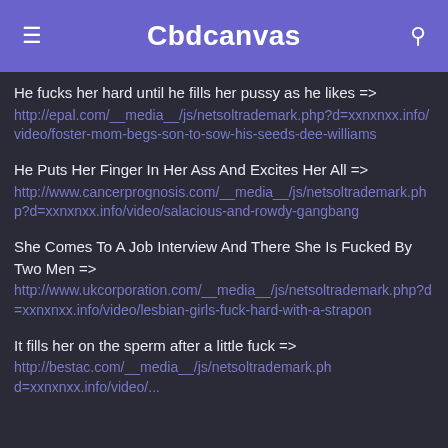Cbdcanvas
He fucks her hard until he fills her pussy as he likes => http://epal.com/__media__/js/netsoltrademark.php?d=xxnxnxx.info/video/foster-mom-begs-son-to-sow-his-seeds-dee-williams
He Puts Her Finger In Her Ass And Excites Her All => http://www.cancerprognosis.com/__media__/js/netsoltrademark.php?d=xxnxnxx.info/video/salacious-and-rowdy-gangbang
She Comes To A Job Interview And There She Is Fucked By Two Men => http://www.ukcorporation.com/__media__/js/netsoltrademark.php?d=xxnxnxx.info/video/lesbian-girls-fuck-hard-with-a-strapon
It fills her on the sperm after a little fuck => http://bestac.com/__media__/js/netsoltrademark.php?d=xxnxnxx.info/video/...